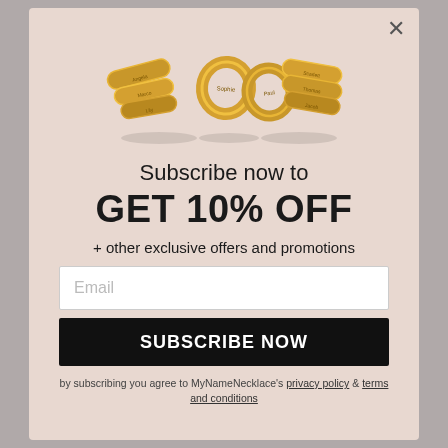[Figure (photo): Gold name rings jewelry arranged decoratively on a pink background]
Subscribe now to
GET 10% OFF
+ other exclusive offers and promotions
Email
SUBSCRIBE NOW
by subscribing you agree to MyNameNecklace's privacy policy & terms and conditions